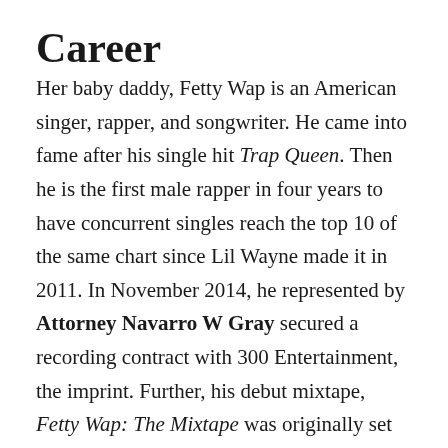Career
Her baby daddy, Fetty Wap is an American singer, rapper, and songwriter. He came into fame after his single hit Trap Queen. Then he is the first male rapper in four years to have concurrent singles reach the top 10 of the same chart since Lil Wayne made it in 2011. In November 2014, he represented by Attorney Navarro W Gray secured a recording contract with 300 Entertainment, the imprint. Further, his debut mixtape, Fetty Wap: The Mixtape was originally set for release in February 2015 but was delayed because he continued to create new songs. In June 2015, Fetty was included in XXL's 2015 Freshman Class.